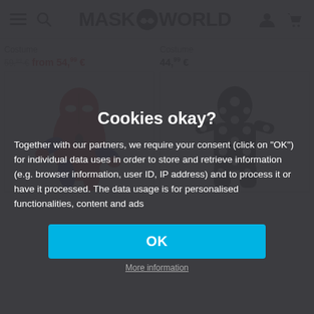MASK WORLD
Costume
59,99 € from 54,99 €
Costume
44,99 €
[Figure (photo): Spider-Man costume product photo on left]
[Figure (photo): Black and white polka dot morphsuit costume on right]
Cookies okay?
Together with our partners, we require your consent (click on "OK") for individual data uses in order to store and retrieve information (e.g. browser information, user ID, IP address) and to process it or have it processed. The data usage is for personalised functionalities, content and ads
OK
More information